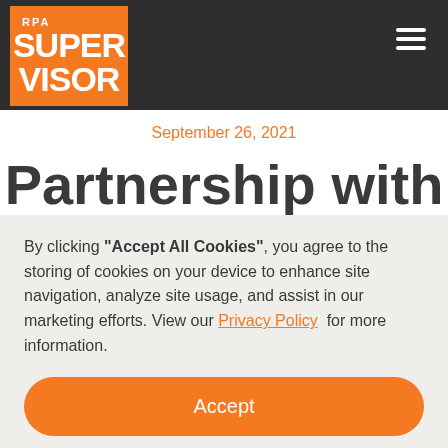[Figure (logo): RPA SUPERVISOR logo — white text on orange background box, set within a dark gray navigation bar with hamburger menu icon on the right]
September 26, 2021
Partnership with
By clicking "Accept All Cookies", you agree to the storing of cookies on your device to enhance site navigation, analyze site usage, and assist in our marketing efforts. View our Privacy Policy for more information.
Accept
Deny
Preferences